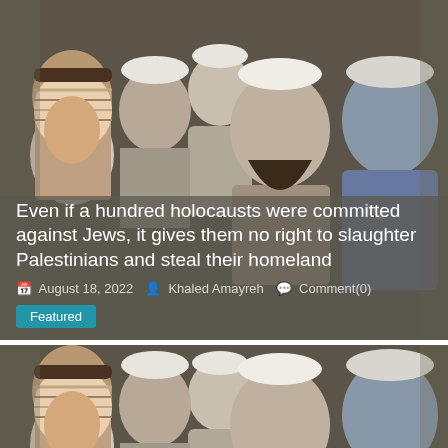[Figure (photo): Photograph of a crowd of people including a woman in a hijab on the left, several men in white kippot, a bearded man in the center, and a man in a police uniform on the right. An overlay with article headline and metadata appears over the lower portion of the image.]
Even if a hundred holocausts were committed against Jews, it gives them no right to slaughter Palestinians and steal their homeland
August 18, 2022   Khaled Amayreh   Comment(0)
Featured
[Figure (photo): Second (cropped/repeated) photograph of the same crowd scene: woman in hijab on left, men in white kippot in background, bearded man in center, police officer on right. No overlay text.]